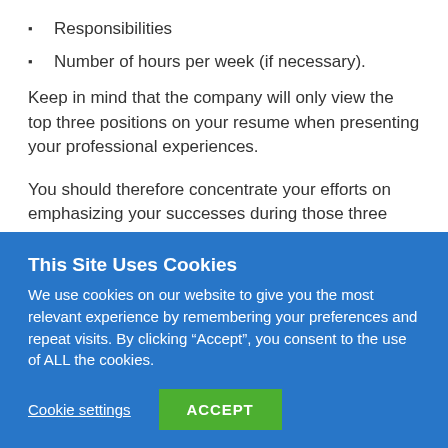Responsibilities
Number of hours per week (if necessary).
Keep in mind that the company will only view the top three positions on your resume when presenting your professional experiences.
You should therefore concentrate your efforts on emphasizing your successes during those three roles.
When composing your bank teller resume's professional
This Site Uses Cookies
We use cookies on our website to give you the most relevant experience by remembering your preferences and repeat visits. By clicking “Accept”, you consent to the use of ALL the cookies.
Cookie settings
ACCEPT